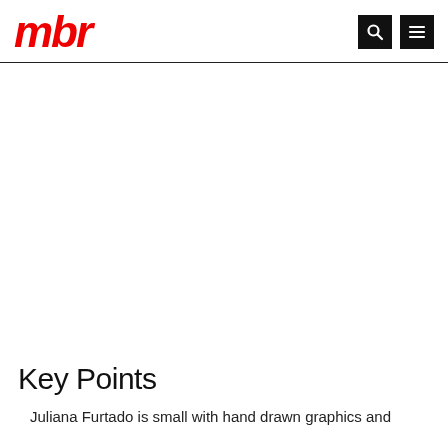mbr
Key Points
Juliana Furtado is small with hand drawn graphics and